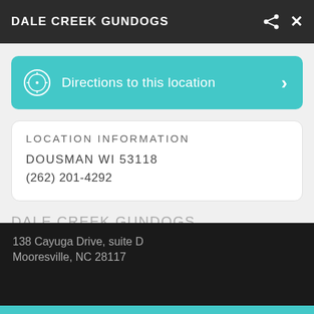DALE CREEK GUNDOGS
Directions to this location
LOCATION INFORMATION
DOUSMAN WI 53118
(262) 201-4292
DALE CREEK GUNDOGS
138 Cayuga Drive, suite D
Mooresville, NC 28117